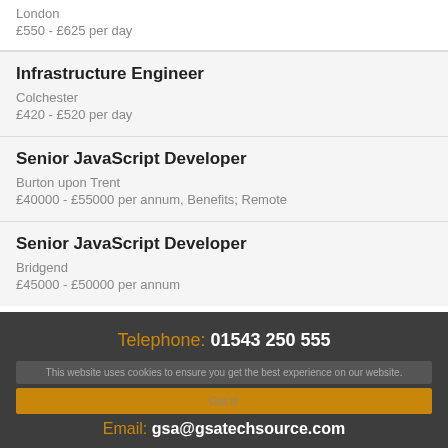London
£550 - £625 per day
Infrastructure Engineer
Colchester
£420 - £520 per day
Senior JavaScript Developer
Burton upon Trent
£40000 - £55000 per annum, Benefits; Remote
Senior JavaScript Developer
Bridgend
£45000 - £50000 per annum
Telephone: 01543 250 555
This website uses cookies to ensure you get the best experience on our website.
Got it!
Email: gsa@gsatechsource.com